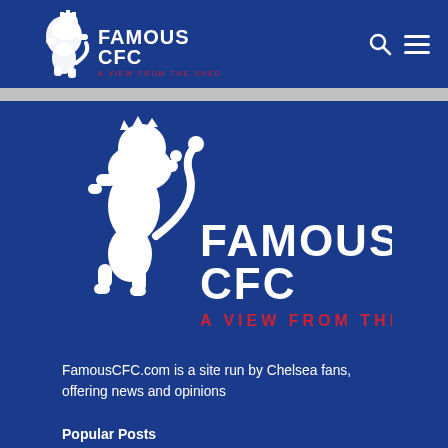FAMOUSCFC A VIEW FROM THE SHED
[Figure (logo): FamousCFC logo with Chelsea lion rampant and text FAMOUSCFC A VIEW FROM THE SHED]
FamousCFC.com is a site run by Chelsea fans, offering news and opinions
Popular Posts